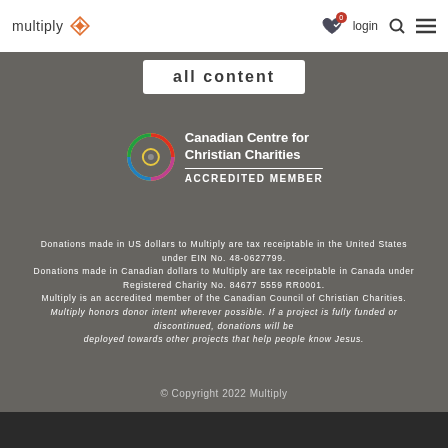multiply | login
all content
[Figure (logo): Canadian Centre for Christian Charities - Accredited Member logo with colorful circular icon]
Donations made in US dollars to Multiply are tax receiptable in the United States under EIN No. 48-0627799. Donations made in Canadian dollars to Multiply are tax receiptable in Canada under Registered Charity No. 84677 5559 RR0001. Multiply is an accredited member of the Canadian Council of Christian Charities. Multiply honors donor intent wherever possible. If a project is fully funded or discontinued, donations will be deployed towards other projects that help people know Jesus.
© Copyright 2022 Multiply